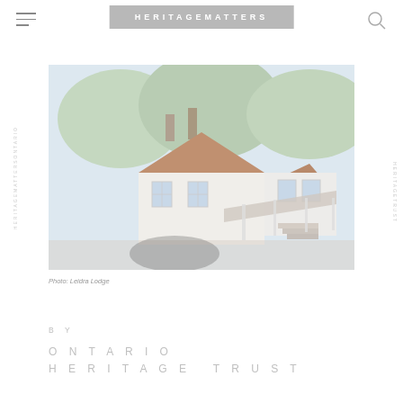HERITAGEMATTERS
[Figure (photo): Exterior photo of Leidra Lodge, a white heritage house with large trees in the background and a covered porch.]
Photo: Leidra Lodge
BY
ONTARIO HERITAGE TRUST